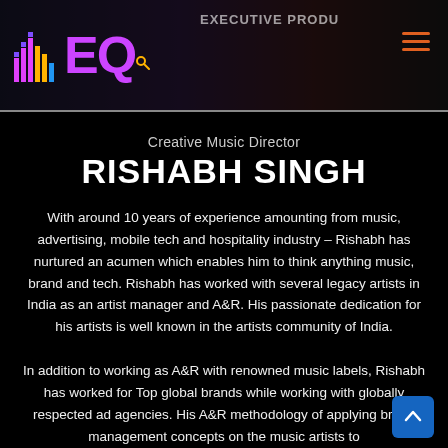EQ — Creative Music Director
RISHABH SINGH
Creative Music Director
With around 10 years of experience amounting from music, advertising, mobile tech and hospitality industry – Rishabh has nurtured an acumen which enables him to think anything music, brand and tech. Rishabh has worked with several legacy artists in India as an artist manager and A&R. His passionate dedication for his artists is well known in the artists community of India.
In addition to working as A&R with renowned music labels, Rishabh has worked for Top global brands while working with globally respected ad agencies. His A&R methodology of applying brand management concepts on the music artists to